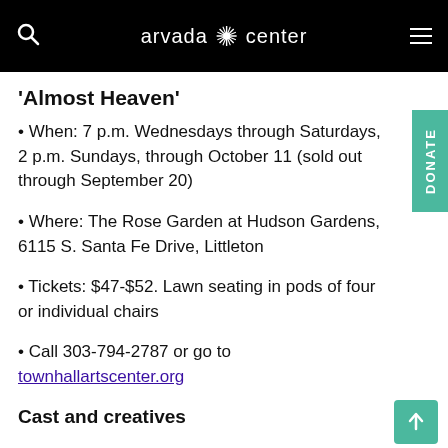arvada center
'Almost Heaven'
• When: 7 p.m. Wednesdays through Saturdays, 2 p.m. Sundays, through October 11 (sold out through September 20)
• Where: The Rose Garden at Hudson Gardens, 6115 S. Santa Fe Drive, Littleton
• Tickets: $47-$52. Lawn seating in pods of four or individual chairs
• Call 303-794-2787 or go to townhallartscenter.org
Cast and creatives